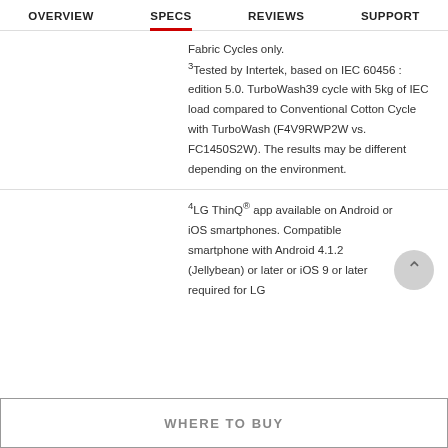OVERVIEW  SPECS  REVIEWS  SUPPORT
Fabric Cycles only.
³Tested by Intertek, based on IEC 60456 : edition 5.0. TurboWash39 cycle with 5kg of IEC load compared to Conventional Cotton Cycle with TurboWash (F4V9RWP2W vs. FC1450S2W). The results may be different depending on the environment.
⁴LG ThinQ® app available on Android or iOS smartphones. Compatible smartphone with Android 4.1.2 (Jellybean) or later or iOS 9 or later required for LG
WHERE TO BUY